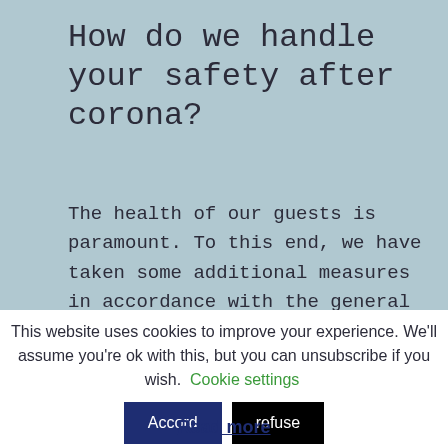How do we handle your safety after corona?
The health of our guests is paramount. To this end, we have taken some additional measures in accordance with the general guidelines of the Portuguese authorities. You can read what measures
This website uses cookies to improve your experience. We'll assume you're ok with this, but you can unsubscribe if you wish.
Cookie settings
Accord
refuse
Read more